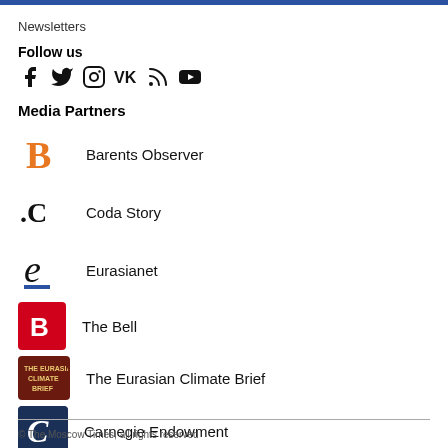Newsletters
Follow us
[Figure (other): Social media icons: Facebook, Twitter, Instagram, VK, RSS, YouTube]
Media Partners
Barents Observer
Coda Story
Eurasianet
The Bell
The Eurasian Climate Brief
Carnegie Endowment
© The Moscow Times, all rights reserved